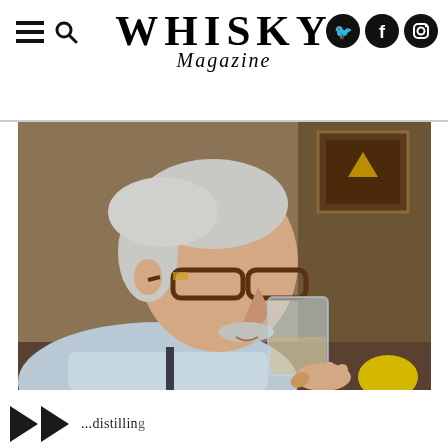WHISKY Magazine
[Figure (photo): An elderly man with gray hair, mustache, and tortoiseshell glasses drinking from a glass of whisky. He is wearing a light blue shirt and the background shows a warm-toned room with a framed picture on the wall with a star on it.]
partial text cut off at bottom of page